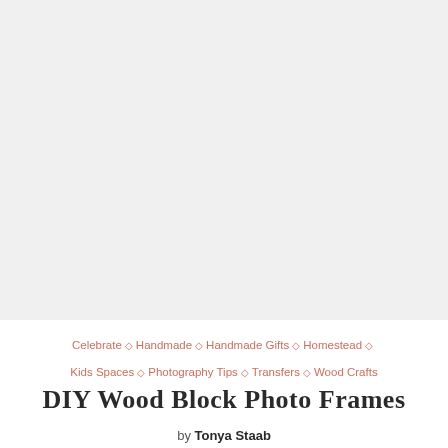[Figure (photo): Large light gray placeholder image area occupying the top portion of the page]
Celebrate ◇ Handmade ◇ Handmade Gifts ◇ Homestead ◇ Kids Spaces ◇ Photography Tips ◇ Transfers ◇ Wood Crafts
DIY Wood Block Photo Frames
by Tonya Staab